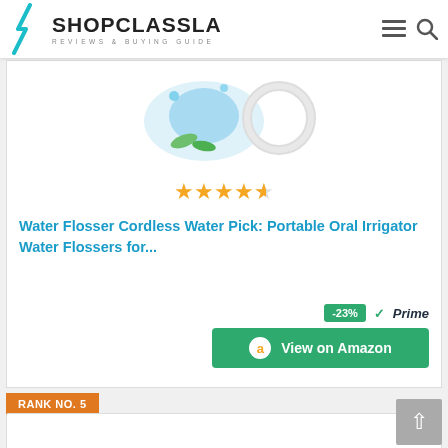SHOPCLASSLA — REVIEWS & BUYING GUIDE
[Figure (photo): Product image of a cordless water flosser with water splash and green leaves]
[Figure (other): Star rating: 4 out of 5 stars shown in gold]
Water Flosser Cordless Water Pick: Portable Oral Irrigator Water Flossers for...
-23% ✓Prime
View on Amazon
RANK NO. 5